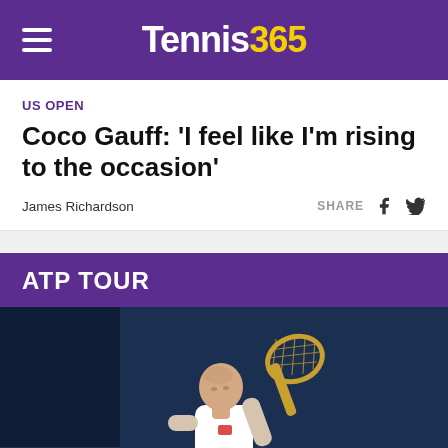Tennis365
US OPEN
Coco Gauff: ‘I feel like I’m rising to the occasion’
James Richardson
SHARE
ATP TOUR
[Figure (photo): Male tennis player in white clothing holding a tennis racket, standing against a dark blue background]